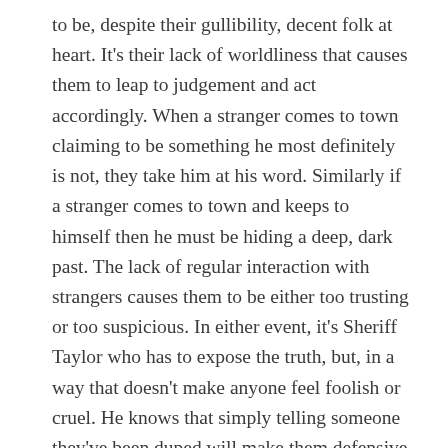to be, despite their gullibility, decent folk at heart.  It's their lack of worldliness that causes them to leap to judgement and act accordingly. When a stranger comes to town claiming to be something he most definitely is not, they take him at his word.  Similarly if a stranger comes to town and keeps to himself then he must be hiding a deep, dark past.  The lack of regular interaction with strangers causes them to be either too trusting or too suspicious. In either event, it's Sheriff Taylor who has to expose the truth, but, in a way that doesn't make anyone feel foolish or cruel.  He knows that simply telling someone they've been duped will make them defensive and then they won't listen.  And then they will make up alternative facts to believe.  Does it sound familiar?
I found it fascinating that after Don Knotts' death the